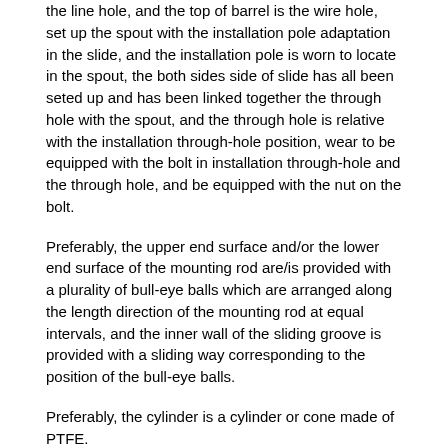the line hole, and the top of barrel is the wire hole, set up the spout with the installation pole adaptation in the slide, and the installation pole is worn to locate in the spout, the both sides side of slide has all been seted up and has been linked together the through hole with the spout, and the through hole is relative with the installation through-hole position, wear to be equipped with the bolt in installation through-hole and the through hole, and be equipped with the nut on the bolt.
Preferably, the upper end surface and/or the lower end surface of the mounting rod are/is provided with a plurality of bull-eye balls which are arranged along the length direction of the mounting rod at equal intervals, and the inner wall of the sliding groove is provided with a sliding way corresponding to the position of the bull-eye balls.
Preferably, the cylinder is a cylinder or cone made of PTFE.
Preferably, the inner wall of the wire through hole is a smooth surface.
Compared with the prior art, the utility model relates to a rationally, simple structure, convenient operation, two